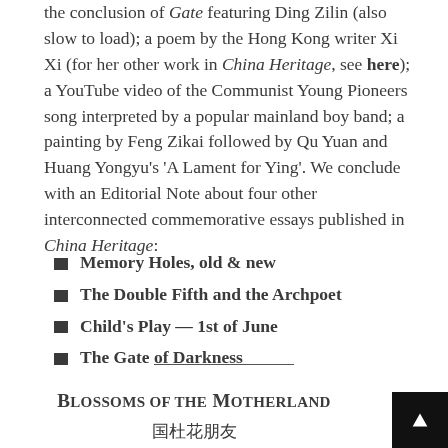the conclusion of Gate featuring Ding Zilin (also slow to load); a poem by the Hong Kong writer Xi Xi (for her other work in China Heritage, see here); a YouTube video of the Communist Young Pioneers song interpreted by a popular mainland boy band; a painting by Feng Zikai followed by Qu Yuan and Huang Yongyu’s ‘A Lament for Ying’. We conclude with an Editorial Note about four other interconnected commemorative essays published in China Heritage:
Memory Holes, old & new
The Double Fifth and the Archpoet
Child’s Play — 1st of June
The Gate of Darkness
Blossoms of the Motherland
国本花朋友